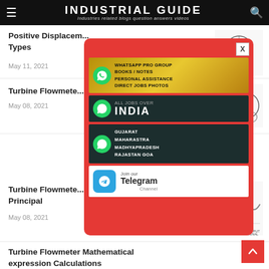INDUSTRIAL GUIDE — Industries related blogs question answers videos
Positive Displacement Pump Types
May 11, 2021
Turbine Flowmeter
May 08, 2021
[Figure (infographic): Popup advertisement overlay with red background containing WhatsApp group ad, All Jobs Over India WhatsApp ad, Gujarat Maharashtra Madhyapradesh Rajastan Goa WhatsApp group ad, and Join our Telegram Channel ad, with X close button]
Turbine Flowmeter Working Principal
May 08, 2021
Turbine Flowmeter Mathematical expression Calculations